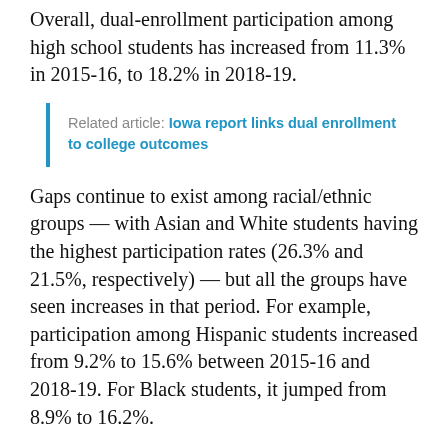Overall, dual-enrollment participation among high school students has increased from 11.3% in 2015-16, to 18.2% in 2018-19.
Related article: Iowa report links dual enrollment to college outcomes
Gaps continue to exist among racial/ethnic groups — with Asian and White students having the highest participation rates (26.3% and 21.5%, respectively) — but all the groups have seen increases in that period. For example, participation among Hispanic students increased from 9.2% to 15.6% between 2015-16 and 2018-19. For Black students, it jumped from 8.9% to 16.2%.
While equity gaps exist in dual-enrollment